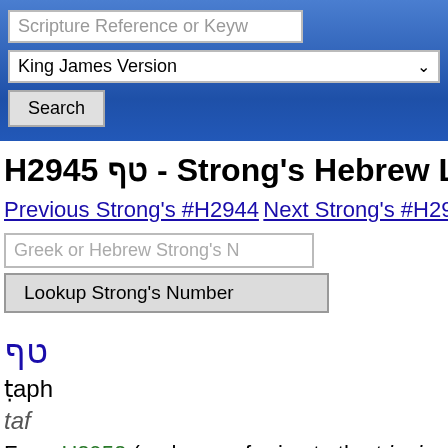Scripture Reference or Keyw
King James Version
Search
H2945 טף - Strong's Hebrew L
Previous Strong's #H2944   Next Strong's #H2946
Greek or Hebrew Strong's N
Lookup Strong's Number
טף
ṭaph
taf
From H2952 (perhaps referring to the tripping gai